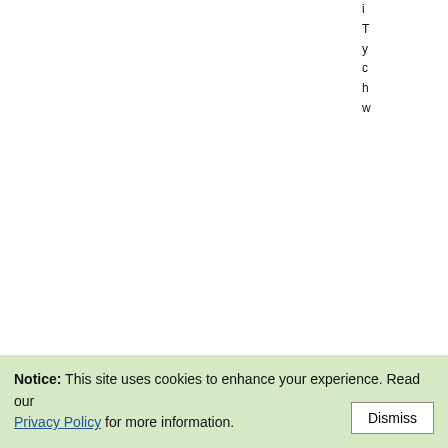i
T
y
c
h
w
H
[Figure (photo): Photo of a woman with dark red hair and bangs wearing dark sunglasses, smiling]
W
c
w
c
u
c
c
Notice: This site uses cookies to enhance your experience. Read our Privacy Policy for more information. Dismiss